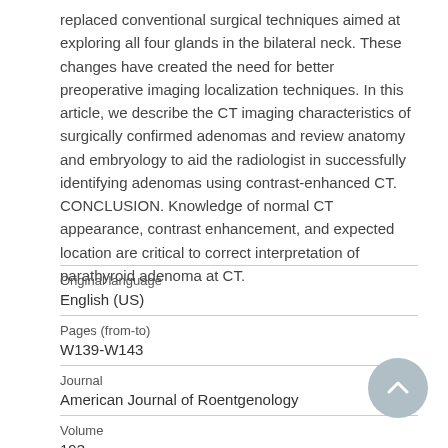replaced conventional surgical techniques aimed at exploring all four glands in the bilateral neck. These changes have created the need for better preoperative imaging localization techniques. In this article, we describe the CT imaging characteristics of surgically confirmed adenomas and review anatomy and embryology to aid the radiologist in successfully identifying adenomas using contrast-enhanced CT. CONCLUSION. Knowledge of normal CT appearance, contrast enhancement, and expected location are critical to correct interpretation of parathyroid adenoma at CT.
| Original language |  |
| English (US) |  |
| Pages (from-to) |  |
| W139-W143 |  |
| Journal |  |
| American Journal of Roentgenology |  |
| Volume |  |
| 193 |  |